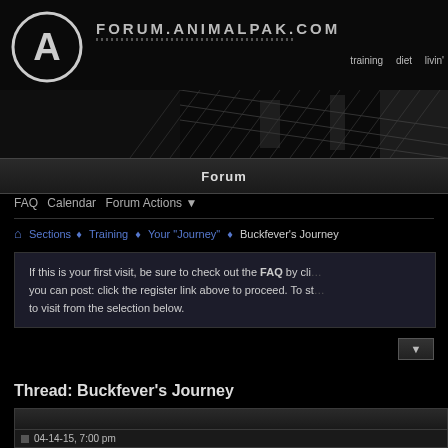FORUM.ANIMALPAK.COM
[Figure (logo): Animal Pak logo - circle with letter A]
training   diet   livin'
[Figure (photo): Dark banner image showing chain-link fence background]
Forum
FAQ   Calendar   Forum Actions
Sections → Training → Your "Journey" → Buckfever's Journey
If this is your first visit, be sure to check out the FAQ by cli... you can post: click the register link above to proceed. To st... to visit from the selection below.
Thread: Buckfever's Journey
04-14-15, 7:00 pm